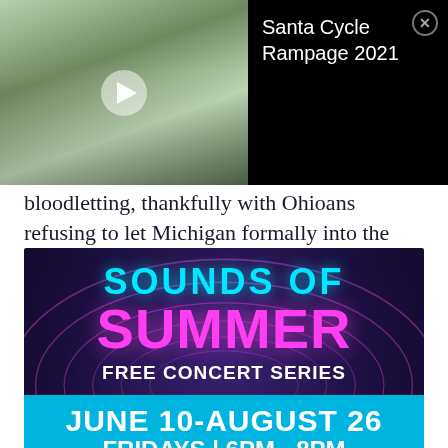[Figure (screenshot): Video thumbnail showing people in Santa costumes cycling on a street, with a play button overlay]
Santa Cycle Rampage 2021
bloodletting, thankfully with Ohioans refusing to let Michigan formally into the Union until it got the land.
[Figure (infographic): Sounds of Summer Free Concert Series advertisement overlay: June 10-August 26, Fridays 6PM-8PM, The Yard. Full summer series at thebayshorelife.com! Presented by OnMilwaukee.]
In the end, Ohio got the Toledo strip, Michigan got the Upper Peninsula as a consolation prize and everyone got to be confused why Wisconsin's hat doesn't belong to Wisconsin.
[Figure (infographic): Young Guns ad: HOW TO BE THE EXPERT IN YOUR FIELD.]
2. Craft breweries